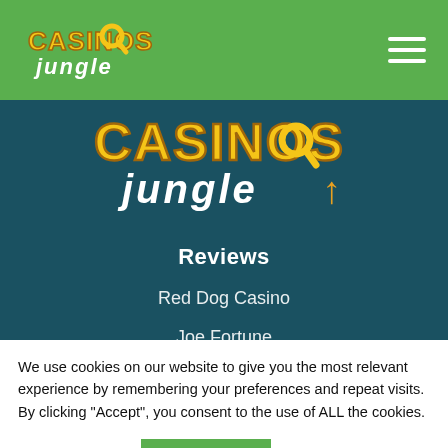[Figure (logo): Casinos Jungle logo in green navigation bar]
[Figure (logo): Casinos Jungle large logo in dark teal section]
Reviews
Red Dog Casino
Joe Fortune
We use cookies on our website to give you the most relevant experience by remembering your preferences and repeat visits. By clicking “Accept”, you consent to the use of ALL the cookies.
Cookie settings
ACCEPT